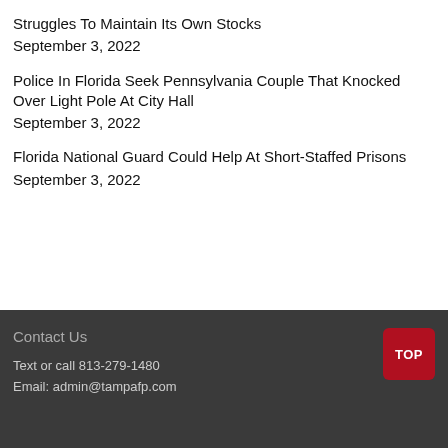Struggles To Maintain Its Own Stocks
September 3, 2022
Police In Florida Seek Pennsylvania Couple That Knocked Over Light Pole At City Hall
September 3, 2022
Florida National Guard Could Help At Short-Staffed Prisons
September 3, 2022
Contact Us
Text or call 813-279-1480
Email: admin@tampafp.com